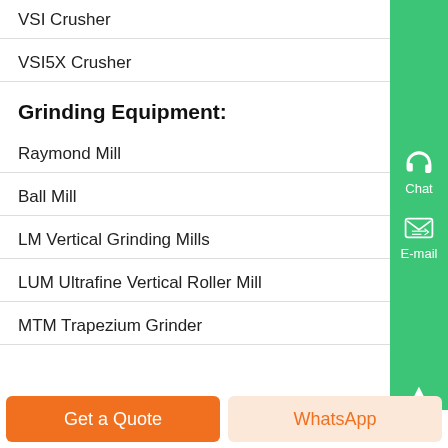VSI Crusher
VSI5X Crusher
Grinding Equipment:
Raymond Mill
Ball Mill
LM Vertical Grinding Mills
LUM Ultrafine Vertical Roller Mill
MTM Trapezium Grinder